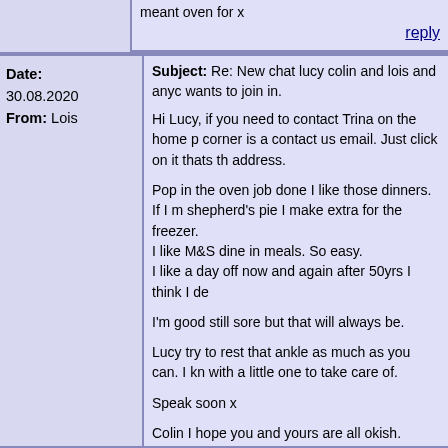meant oven for x
reply
Date: 30.08.2020 From: Lois
Subject: Re: New chat lucy colin and lois and anyone wants to join in.

Hi Lucy, if you need to contact Trina on the home page corner is a contact us email. Just click on it thats the address.

Pop in the oven job done I like those dinners. If I m shepherd's pie I make extra for the freezer.
I like M&S dine in meals. So easy.
I like a day off now and again after 50yrs I think I de

I'm good still sore but that will always be.

Lucy try to rest that ankle as much as you can. I kn with a little one to take care of.

Speak soon x

Colin I hope you and yours are all okish.
reply
Date: 30.08.2020 From: lucy
Subject: Re: New chat lucy colin and lois and anyone wants to join in.

Bumping up AGAIN. They have been at it again Lo what you said but it saying I need a GMail accoun